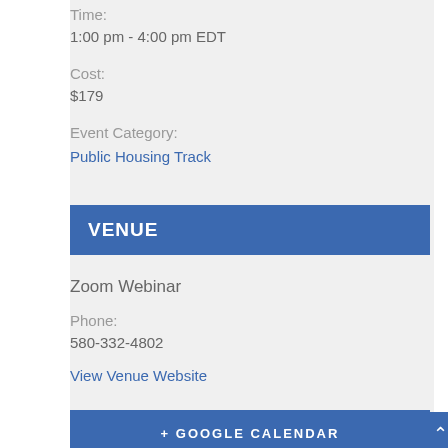Time:
1:00 pm - 4:00 pm EDT
Cost:
$179
Event Category:
Public Housing Track
VENUE
Zoom Webinar
Phone:
580-332-4802
View Venue Website
+ GOOGLE CALENDAR